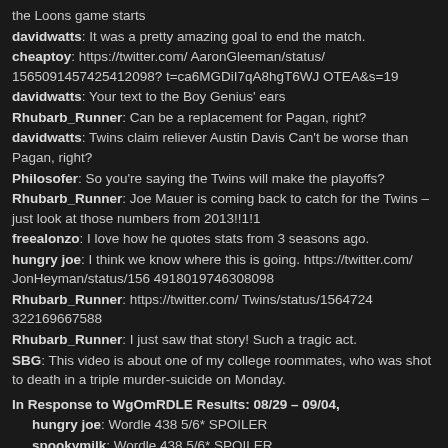the Loons game starts
davidwatts: It was a pretty amazing goal to end the match.
cheaptoy: https://twitter.com/ AaronGleeman/status/1565091457425412098? t=ca6MGDiI7qA8hgT6WJ OTEA&s=19
davidwatts: Your text to the Boy Genius' ears
Rhubarb_Runner: Can be a replacement for Pagan, right?
davidwatts: Twins claim reliever Austin Davis Can't be worse than Pagan, right?
Philosofer: So you're saying the Twins will make the playoffs?
Rhubarb_Runner: Joe Mauer is coming back to catch for the Twins – just look at those numbers from 2013!!1!1
freealonzo: I love how he quotes stats from 3 seasons ago.
hungry joe: I think we know where this is going. https://twitter.com/ JonHeyman/status/156 491801974630809​8
Rhubarb_Runner: https://twitter.com/ Twins/status/1564724 322169667588
Rhubarb_Runner: I just saw that story! Such a tragic act.
SBG: This video is about one of my college roommates, who was shot to death in a triple murder-suicide on Monday.
In Response to WgOmRDLE Results: 08/29 – 09/04,
hungry joe: Wordle 438 5/6* SPOILER
spookymilk: Wordle 438 5/6* SPOILER
The Dread Pirate: SPOILER
CarterHayes: Wordle 438 5/6* SPOILER
Philosofer: Wordle 438 X/6* SPOILER